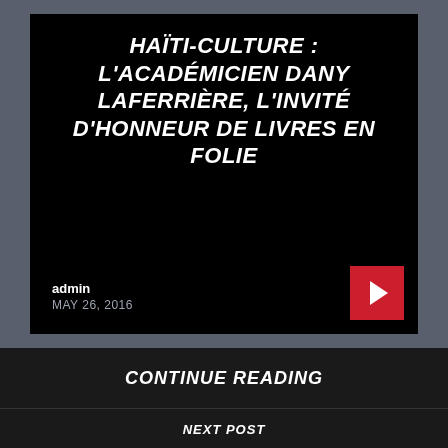HAÏTI-CULTURE : L'ACADÉMICIEN DANY LAFERRIÈRE, L'INVITÉ D'HONNEUR DE LIVRES EN FOLIE
admin
MAY 26, 2016
CONTINUE READING
NEXT POST